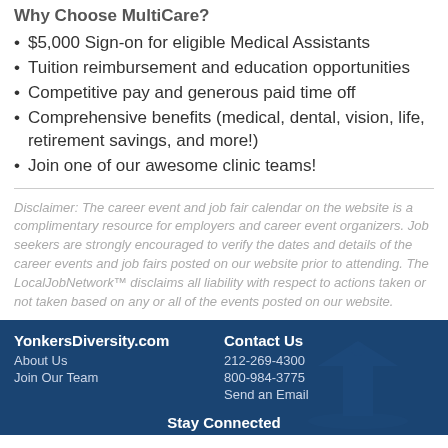Why Choose MultiCare?
$5,000 Sign-on for eligible Medical Assistants
Tuition reimbursement and education opportunities
Competitive pay and generous paid time off
Comprehensive benefits (medical, dental, vision, life, retirement savings, and more!)
Join one of our awesome clinic teams!
Disclaimer: The career event and job fair calendar on the website is a complimentary resource for employers and career event organizers. Job seekers are strongly encouraged to verify the dates and details of the career events and job fairs posted on our website prior to attending. The LocalJobNetwork™ disclaims all liability with respect to actions taken or not taken based on any or all of the events posted on our website.
YonkersDiversity.com | About Us | Join Our Team | Contact Us | 212-269-4300 | 800-984-3775 | Send an Email | Stay Connected